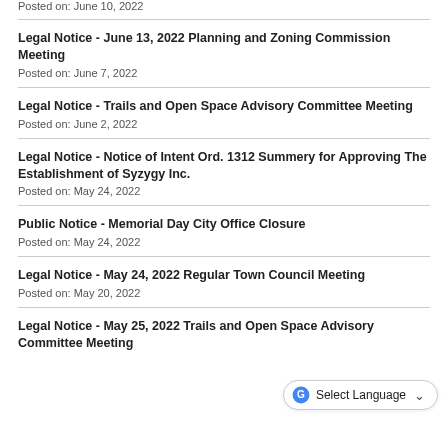Posted on: June 10, 2022
Legal Notice - June 13, 2022 Planning and Zoning Commission Meeting
Posted on: June 7, 2022
Legal Notice - Trails and Open Space Advisory Committee Meeting
Posted on: June 2, 2022
Legal Notice - Notice of Intent Ord. 1312 Summery for Approving The Establishment of Syzygy Inc.
Posted on: May 24, 2022
Public Notice - Memorial Day City Office Closure
Posted on: May 24, 2022
Legal Notice - May 24, 2022 Regular Town Council Meeting
Posted on: May 20, 2022
Legal Notice - May 25, 2022 Trails and Open Space Advisory Committee Meeting